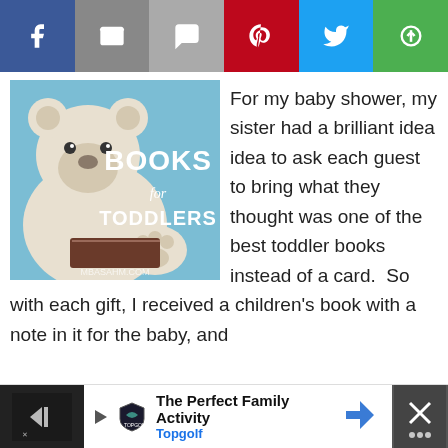[Figure (infographic): Social media share bar with buttons: Facebook (blue), Email/Mail (gray), SMS (light gray), Pinterest (red), Twitter (light blue), More/share (green)]
[Figure (photo): Book cover image showing a teddy bear reading a book with text 'BOOKS for TODDLERS' on a blue background, with mbasahm.com watermark]
For my baby shower, my sister had a brilliant idea idea to ask each guest to bring what they thought was one of the best toddler books instead of a card.  So with each gift, I received a children's book with a note in it for the baby, and
[Figure (screenshot): Advertisement banner: 'The Perfect Family Activity - Topgolf' with Topgolf logo, navigation arrow icon, and close button on right]